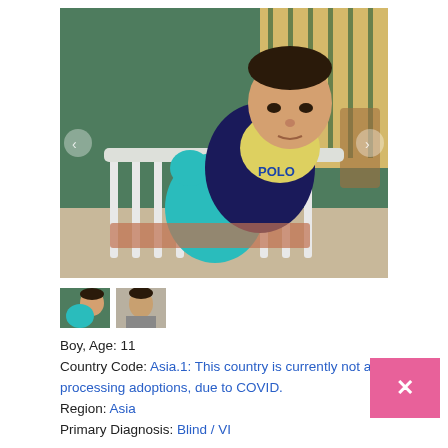[Figure (photo): Young Asian boy sitting in a white crib/cot, holding a teal stuffed animal toy. He is wearing a yellow and dark navy jacket with 'POLO' text. Background shows green walls and a window with vertical bars.]
[Figure (photo): Two small thumbnail photos of the same child]
Boy, Age: 11
Country Code: Asia.1: This country is currently not actively processing adoptions, due to COVID.
Region: Asia
Primary Diagnosis: Blind / VI